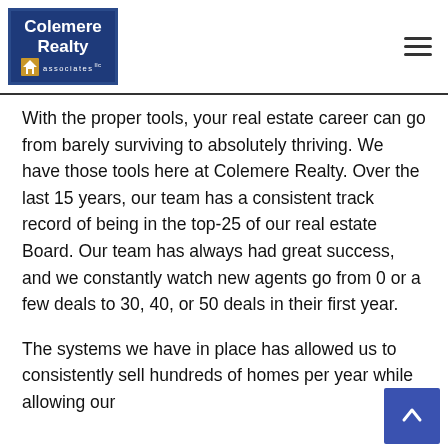Colemere Realty associates LLC
With the proper tools, your real estate career can go from barely surviving to absolutely thriving. We have those tools here at Colemere Realty. Over the last 15 years, our team has a consistent track record of being in the top-25 of our real estate Board. Our team has always had great success, and we constantly watch new agents go from 0 or a few deals to 30, 40, or 50 deals in their first year.
The systems we have in place has allowed us to consistently sell hundreds of homes per year while allowing our